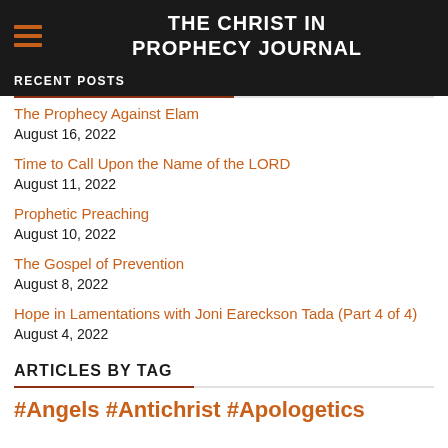THE CHRIST IN PROPHECY JOURNAL
RECENT POSTS
The Prophecy Against Elam
August 16, 2022
Time to Call Upon the Name of the LORD
August 11, 2022
Prophetic Preaching
August 10, 2022
The Gospel of Prevention
August 8, 2022
Hope in Lamentations with Joni Eareckson Tada (Part 4 of 4)
August 4, 2022
ARTICLES BY TAG
#Angels #Antichrist #Apologetics